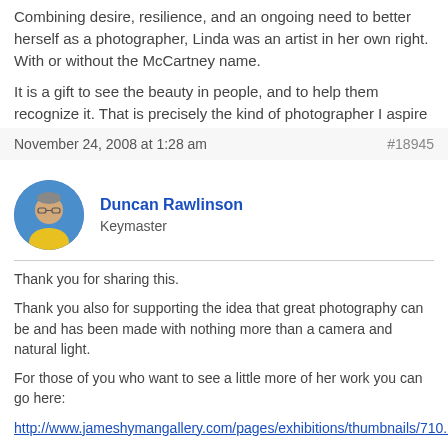Combining desire, resilience, and an ongoing need to better herself as a photographer, Linda was an artist in her own right. With or without the McCartney name.
It is a gift to see the beauty in people, and to help them recognize it. That is precisely the kind of photographer I aspire to be.
November 24, 2008 at 1:28 am
#18945
Duncan Rawlinson
Keymaster
Thank you for sharing this.
Thank you also for supporting the idea that great photography can be and has been made with nothing more than a camera and natural light.
For those of you who want to see a little more of her work you can go here:
http://www.jameshymangallery.com/pages/exhibitions/thumbnails/710.html